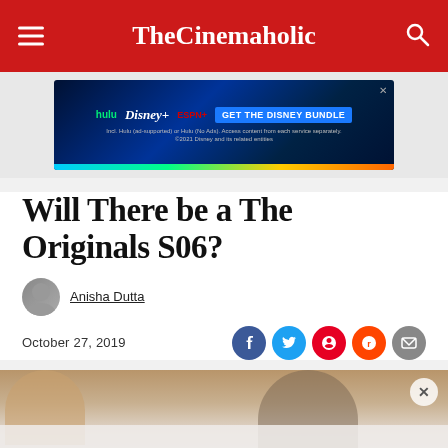TheCinemaholic
[Figure (other): Disney Bundle advertisement banner with Hulu, Disney+, ESPN+ logos and GET THE DISNEY BUNDLE call to action]
Will There be a The Originals S06?
Anisha Dutta
October 27, 2019
[Figure (photo): Hero image showing actors from The Originals TV show]